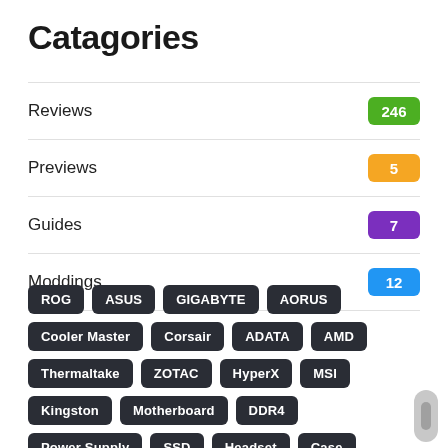Catagories
Reviews 246
Previews 5
Guides 7
Moddings 12
ROG ASUS GIGABYTE AORUS Cooler Master Corsair ADATA AMD Thermaltake ZOTAC HyperX MSI Kingston Motherboard DDR4 Power Supply SSD Headset Case